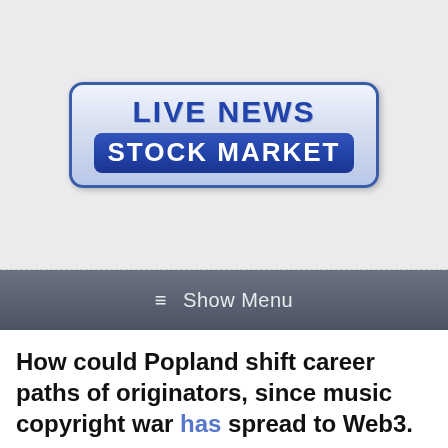[Figure (logo): Live News Stock Market logo with blue border and rounded rectangle, 'LIVE NEWS' text in blue above 'STOCK MARKET' text in white on blue banner]
≡  Show Menu
How could Popland shift career paths of originators, since music copyright war has spread to Web3.